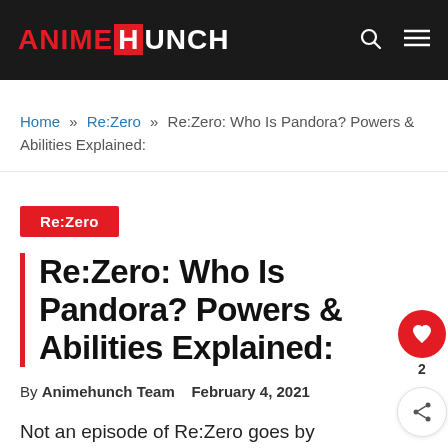ANIMEHUNCH
Home » Re:Zero » Re:Zero: Who Is Pandora? Powers & Abilities Explained:
Re:Zero
Re:Zero: Who Is Pandora? Powers & Abilities Explained:
By Animehunch Team  February 4, 2021
Not an episode of Re:Zero goes by without making you scratch your